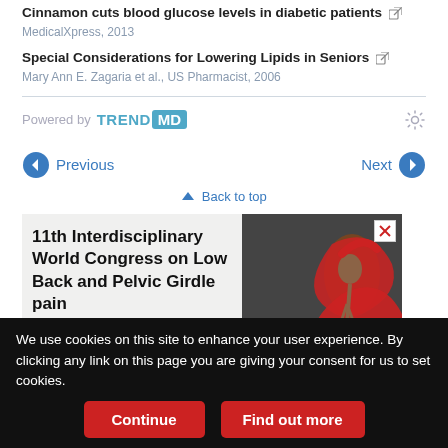Cinnamon cuts blood glucose levels in diabetic patients
MedicalXpress, 2013
Special Considerations for Lowering Lipids in Seniors
Mary Ann E. Zagaria et al., US Pharmacist, 2006
Powered by TRENDMD
Previous
Next
Back to top
[Figure (other): Advertisement banner for 11th Interdisciplinary World Congress on Low Back and Pelvic Girdle pain, with a dancer in red on the right side]
We use cookies on this site to enhance your user experience. By clicking any link on this page you are giving your consent for us to set cookies.
Continue
Find out more